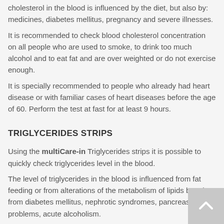cholesterol in the blood is influenced by the diet, but also by: medicines, diabetes mellitus, pregnancy and severe illnesses.
It is recommended to check blood cholesterol concentration on all people who are used to smoke, to drink too much alcohol and to eat fat and are over weighted or do not exercise enough.
It is specially recommended to people who already had heart disease or with familiar cases of heart diseases before the age of 60. Perform the test at fast for at least 9 hours.
TRIGLYCERIDES STRIPS
Using the multiCare-in Triglycerides strips it is possible to quickly check triglycerides level in the blood.
The level of triglycerides in the blood is influenced from fat feeding or from alterations of the metabolism of lipids but also from diabetes mellitus, nephrotic syndromes, pancreas problems, acute alcoholism.